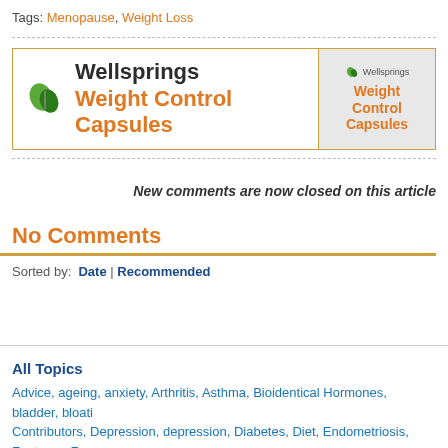Tags: Menopause, Weight Loss
[Figure (other): Wellsprings Weight Control Capsules advertisement banner with logo and product image]
New comments are now closed on this article
No Comments
Sorted by: Date | Recommended
All Topics
Advice, ageing, anxiety, Arthritis, Asthma, Bioidentical Hormones, bladder, bloati... Contributors, Depression, depression, Diabetes, Diet, Endometriosis, Features, F...